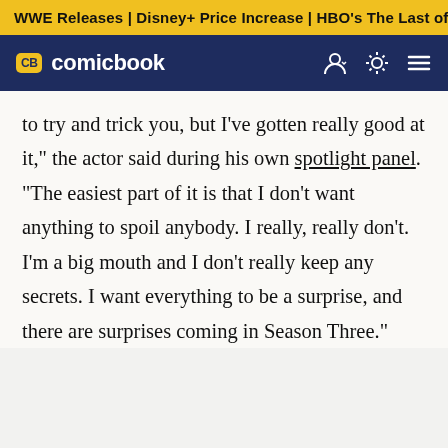WWE Releases | Disney+ Price Increase | HBO's The Last of
[Figure (logo): ComicBook.com logo with CB badge in yellow on dark navy navigation bar, with user icon, brightness toggle, and hamburger menu icons on the right]
to try and trick you, but I've gotten really good at it," the actor said during his own spotlight panel. "The easiest part of it is that I don't want anything to spoil anybody. I really, really don't. I'm a big mouth and I don't really keep any secrets. I want everything to be a surprise, and there are surprises coming in Season Three."